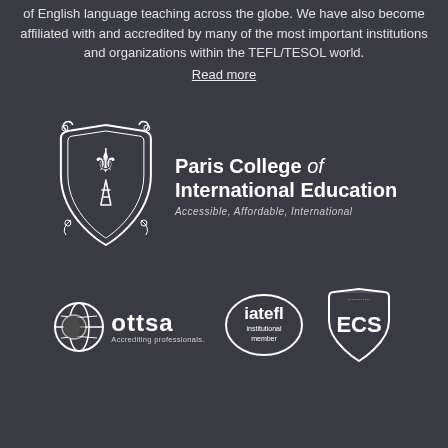of English language teaching across the globe. We have also become affiliated with and accredited by many of the most important institutions and organizations within the TEFL/TESOL world. Read more
[Figure (logo): Paris College of International Education logo — a heraldic shield with fleur-de-lis and Eiffel Tower motif, with text 'Paris College of International Education' and tagline 'Accessible, Affordable, International']
[Figure (logo): Three accreditation logos: OTTSA (globe icon, 'ottsa Accrediting professionals.'), iatefl institutional member (oval badge), ECS (shield badge)]